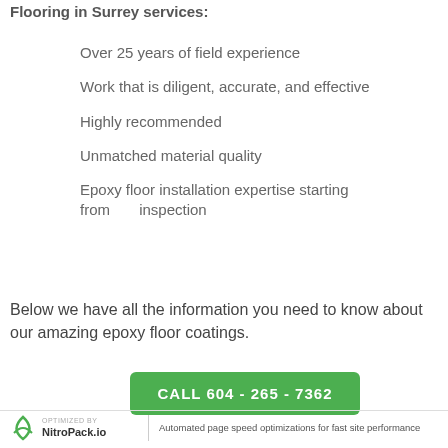Flooring in Surrey services:
Over 25 years of field experience
Work that is diligent, accurate, and effective
Highly recommended
Unmatched material quality
Epoxy floor installation expertise starting from inspection
Below we have all the information you need to know about our amazing epoxy floor coatings.
CALL 604 - 265 - 7362
OPTIMIZED BY NitroPack.io | Automated page speed optimizations for fast site performance